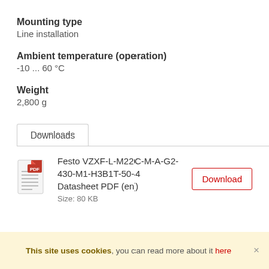Mounting type
Line installation
Ambient temperature (operation)
-10 ... 60 °C
Weight
2,800 g
Downloads
Festo VZXF-L-M22C-M-A-G2-430-M1-H3B1T-50-4 Datasheet PDF (en)
Size: 80 KB
Download
This site uses cookies, you can read more about it here